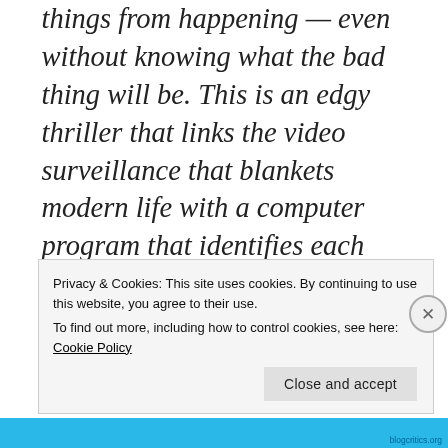things from happening — even without knowing what the bad thing will be. This is an edgy thriller that links the video surveillance that blankets modern life with a computer program that identifies each "person of interest" — someone who, whether as a victim or a perpetrator, is about to be involved in a violent crime. Michael Emerson (Lost) is the obscure man
Privacy & Cookies: This site uses cookies. By continuing to use this website, you agree to their use.
To find out more, including how to control cookies, see here: Cookie Policy
Close and accept